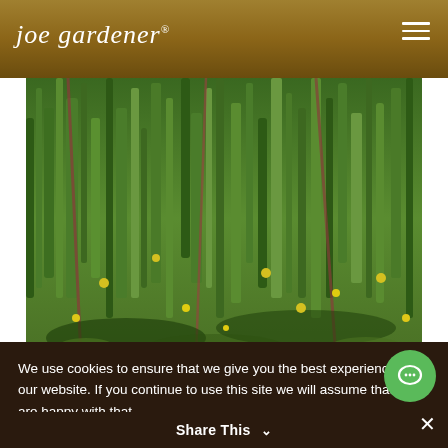joe gardener®
[Figure (photo): Dense weedy garden ground with yellow small flowers among mixed grasses and green vegetation]
Would you like more weeds in your landscape? No problem, just encourage a higher ratio of bacteria in the soil – through compaction, application of fungicides, and a lack of organic materials from compost and mulch.
We use cookies to ensure that we give you the best experience on our website. If you continue to use this site we will assume that you are happy with that.
The minerals in our soils are not nutrients, but those exist in a form which can be taken up by plants. For example, plants
Share This